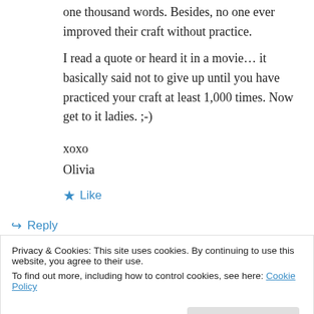one thousand words. Besides, no one ever improved their craft without practice.
I read a quote or heard it in a movie… it basically said not to give up until you have practiced your craft at least 1,000 times. Now get to it ladies. ;-)
xoxo
Olivia
★ Like
↪ Reply
Privacy & Cookies: This site uses cookies. By continuing to use this website, you agree to their use.
To find out more, including how to control cookies, see here: Cookie Policy
Close and accept
And Terry, you are more than welcome to